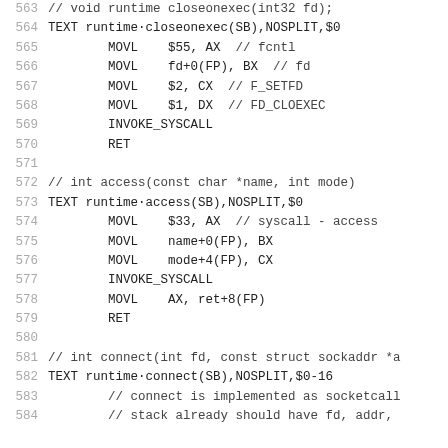563  // void runtime closeonexec(int32 fd);
564  TEXT runtime·closeonexec(SB),NOSPLIT,$0
565       MOVL    $55, AX  // fcntl
566       MOVL    fd+0(FP), BX  // fd
567       MOVL    $2, CX  // F_SETFD
568       MOVL    $1, DX  // FD_CLOEXEC
569       INVOKE_SYSCALL
570       RET
571
572  // int access(const char *name, int mode)
573  TEXT runtime·access(SB),NOSPLIT,$0
574       MOVL    $33, AX  // syscall - access
575       MOVL    name+0(FP), BX
576       MOVL    mode+4(FP), CX
577       INVOKE_SYSCALL
578       MOVL    AX, ret+8(FP)
579       RET
580
581  // int connect(int fd, const struct sockaddr *a...
582  TEXT runtime·connect(SB),NOSPLIT,$0-16
583       // connect is implemented as socketcall...
584       // stack already should have fd, addr,...